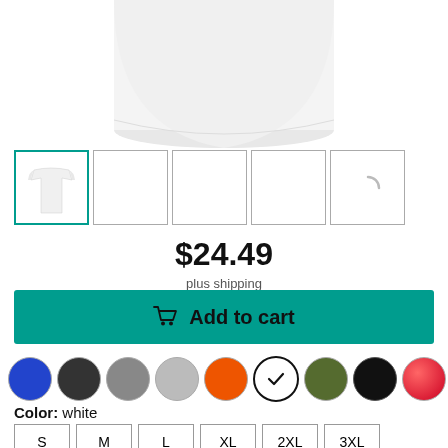[Figure (photo): White t-shirt product image, cropped showing bottom portion of shirt on white background]
[Figure (screenshot): Row of 5 product thumbnail images; first thumbnail selected with teal border showing white t-shirt, remaining 4 empty/loading]
$24.49
plus shipping
Add to cart
[Figure (infographic): Color swatch selector row with 9 color circles: blue, dark gray, gray, light gray, orange, white (selected with checkmark), olive, black, red]
Color: white
S  M  L  XL  2XL  3XL